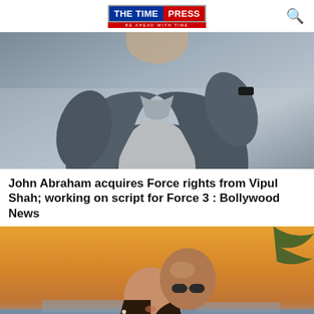THE TIME PRESS — BE AHEAD WITH TIME
[Figure (photo): A man in a grey jacket and light grey t-shirt, partially visible from torso up, standing against a beige wall.]
John Abraham acquires Force rights from Vipul Shah; working on script for Force 3 : Bollywood News
[Figure (photo): A couple at sunset near water, the man bald with sunglasses hugging a woman with long dark hair wearing a black and white patterned top.]